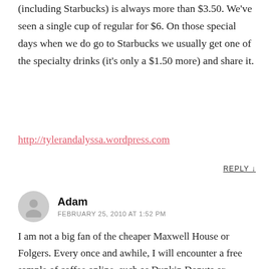(including Starbucks) is always more than $3.50. We've seen a single cup of regular for $6. On those special days when we do go to Starbucks we usually get one of the specialty drinks (it's only a $1.50 more) and share it.
http://tylerandalyssa.wordpress.com
REPLY ↓
Adam
FEBRUARY 25, 2010 AT 1:52 PM
I am not a big fan of the cheaper Maxwell House or Folgers. Every once and awhile, I will encounter a free sample of coffee online, such as Dunkin Donuts or Millstone coffee. Aside from that, I try to